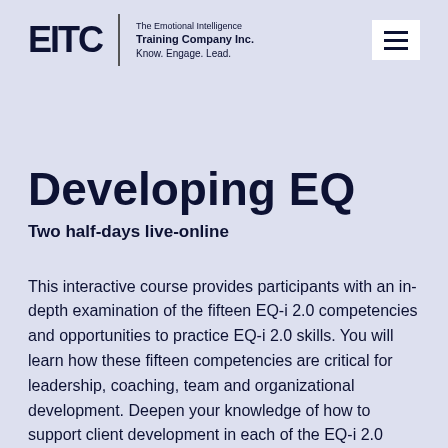EITC | The Emotional Intelligence Training Company Inc. Know. Engage. Lead.
Developing EQ
Two half-days live-online
This interactive course provides participants with an in-depth examination of the fifteen EQ-i 2.0 competencies and opportunities to practice EQ-i 2.0 skills. You will learn how these fifteen competencies are critical for leadership, coaching, team and organizational development. Deepen your knowledge of how to support client development in each of the EQ-i 2.0